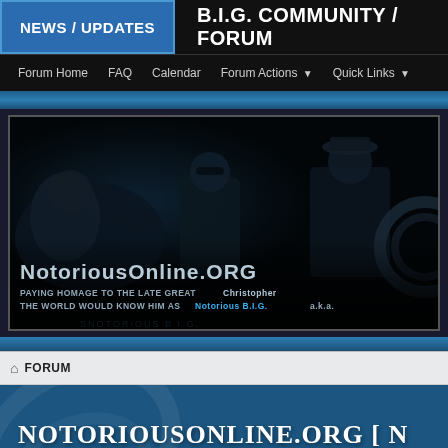NEWS / UPDATES | B.I.G. COMMUNITY / FORUM
Forum Home  FAQ  Calendar  Forum Actions  Quick Links
[Figure (photo): Dark banner image showing silhouetted figures with text overlay: NotoriousOnline.org - Paying homage to the late great Christopher - the world would know him as Notorious B.I.G. a.k.a.]
FORUM
NOTORIOUSONLINE.ORG [ N